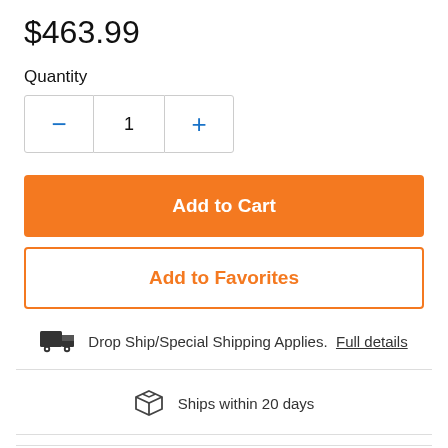$463.99
Quantity
1
Add to Cart
Add to Favorites
Drop Ship/Special Shipping Applies.  Full details
Ships within 20 days
Description